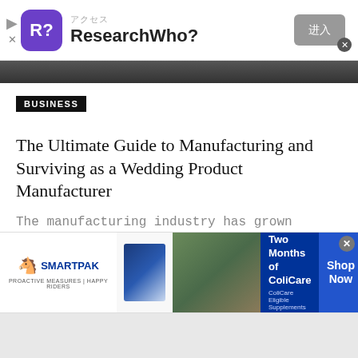[Figure (screenshot): Top advertisement banner for ResearchWho? app with purple R? logo, Japanese text, and a gray button]
[Figure (photo): Dark image strip at top of article]
BUSINESS
The Ultimate Guide to Manufacturing and Surviving as a Wedding Product Manufacturer
The manufacturing industry has grown exponentially over the last decade. In today's world, manufacturers ...
NEW THEORY – AUGUST 30, 2021
[Figure (screenshot): SmartPak advertisement: 50% Off Two Months of ColiCare, ColiCare Eligible Supplements, CODE: COLICARE10, Shop Now button]